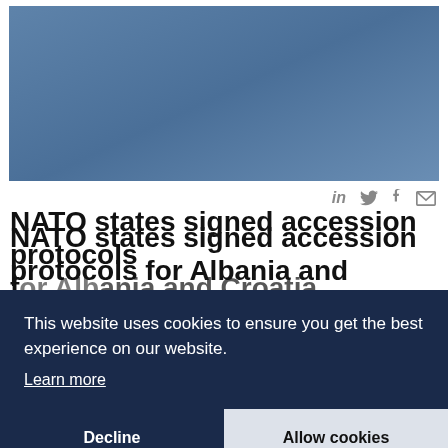[Figure (photo): Blue/steel-colored background image placeholder for a NATO article]
in 🐦 f ✉
NATO states signed accession protocols for Albania and Croatia. Wednesday saw the signing of accession protocols that will pave the way for membership of the two youngest NATO members yet.
The signing... NATO leaders agreed to usher the two Balkans
This website uses cookies to ensure you get the best experience on our website. Learn more
Decline  Allow cookies